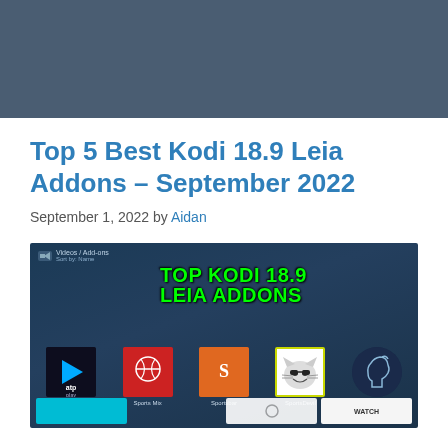[Figure (screenshot): Dark blue/slate website header banner background]
Top 5 Best Kodi 18.9 Leia Addons – September 2022
September 1, 2022 by Aidan
[Figure (screenshot): Kodi 18.9 Leia add-ons screen showing ATP Play, Sports Mix, Sportsbar, SportsDevil, and Stallion IPTV addon tiles with green overlay text reading TOP KODI 18.9 LEIA ADDONS]